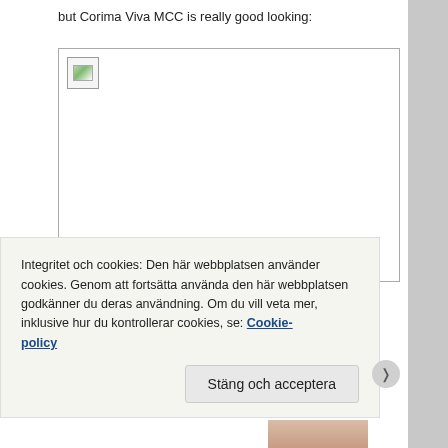but Corima Viva MCC is really good looking:
[Figure (photo): Placeholder image box with broken image icon (image failed to load), representing a photo of the Corima Viva MCC]
Integritet och cookies: Den här webbplatsen använder cookies. Genom att fortsätta använda den här webbplatsen godkänner du deras användning. Om du vill veta mer, inklusive hur du kontrollerar cookies, se: Cookie-policy
Stäng och acceptera